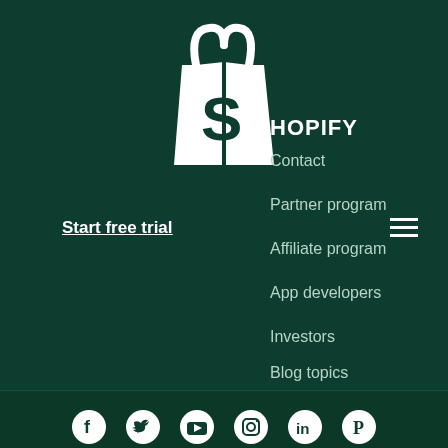[Figure (logo): Shopify shopping bag logo in white on dark green background]
SHOPIFY
Contact
Start free trial
Partner program
Affiliate program
App developers
Investors
Blog topics
Community Events
[Figure (illustration): Social media icons row: Facebook, Twitter, YouTube, Instagram, LinkedIn, Pinterest — white circles on dark green background]